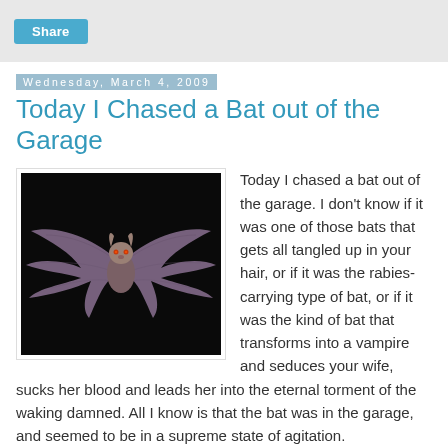Share
Wednesday, March 4, 2009
Today I Chased a Bat out of the Garage
[Figure (photo): A bat in flight against a black background, wings spread wide, showing membrane detail]
Today I chased a bat out of the garage. I don't know if it was one of those bats that gets all tangled up in your hair, or if it was the rabies-carrying type of bat, or if it was the kind of bat that transforms into a vampire and seduces your wife, sucks her blood and leads her into the eternal torment of the waking damned. All I know is that the bat was in the garage, and seemed to be in a supreme state of agitation.
Twice the bat swooped at my head, and twice I ducked. Its eyes, like pools of fire, blazed with menace, fear and